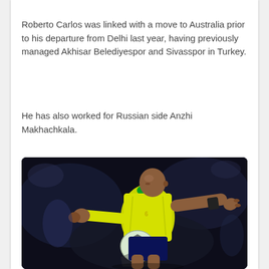Roberto Carlos was linked with a move to Australia prior to his departure from Delhi last year, having previously managed Akhisar Belediyespor and Sivasspor in Turkey.
He has also worked for Russian side Anzhi Makhachkala.
[Figure (photo): Photo of Roberto Carlos in a yellow Brazil football kit, controlling a football, arms outstretched, dark blurred background]